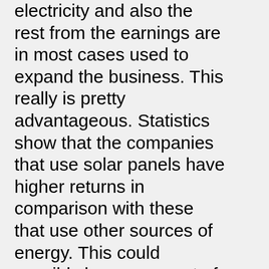electricity and also the rest from the earnings are in most cases used to expand the business. This really is pretty advantageous. Statistics show that the companies that use solar panels have higher returns in comparison with these that use other sources of energy. This could possibly be on account of the fact that electricity is usually extremely high-priced and could make these companies not afford allot of assets. This can be specifically evident in compact or new companies. There is also an advantage that customers get after they get services from a company that uses clean energy. This can be the fact that they could get access to government incentives which can be made offered to these companies.